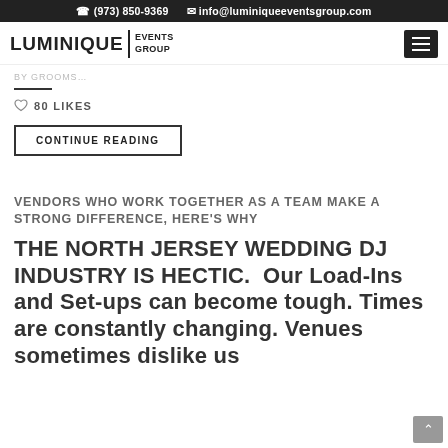(973) 850-9369   info@luminiqueeventsgroup.com
[Figure (logo): Luminique Events Group logo with bold text and menu button]
By Grooms...
80 LIKES
CONTINUE READING
VENDORS WHO WORK TOGETHER AS A TEAM MAKE A STRONG DIFFERENCE, HERE'S WHY
THE NORTH JERSEY WEDDING DJ INDUSTRY IS HECTIC. Our Load-Ins and Set-ups can become tough. Times are constantly changing. Venues sometimes dislike us